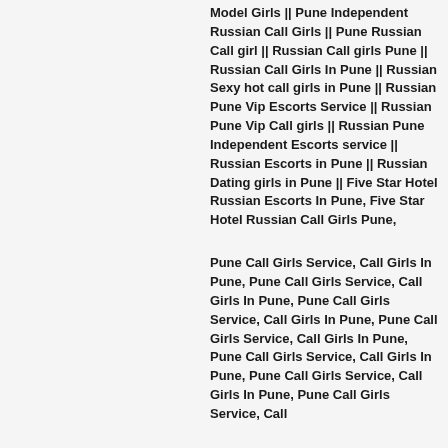Model Girls || Pune Independent Russian Call Girls || Pune Russian Call girl || Russian Call girls Pune || Russian Call Girls In Pune || Russian Sexy hot call girls in Pune || Russian Pune Vip Escorts Service || Russian Pune Vip Call girls || Russian Pune Independent Escorts service || Russian Escorts in Pune || Russian Dating girls in Pune || Five Star Hotel Russian Escorts In Pune, Five Star Hotel Russian Call Girls Pune,
Pune Call Girls Service, Call Girls In Pune, Pune Call Girls Service, Call Girls In Pune, Pune Call Girls Service, Call Girls In Pune, Pune Call Girls Service, Call Girls In Pune, Pune Call Girls Service, Call Girls In Pune, Pune Call Girls Service, Call Girls In Pune, Pune Call Girls Service, Call